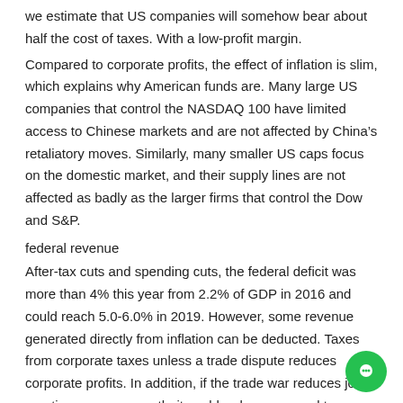we estimate that US companies will somehow bear about half the cost of taxes. With a low-profit margin.
Compared to corporate profits, the effect of inflation is slim, which explains why American funds are. Many large US companies that control the NASDAQ 100 have limited access to Chinese markets and are not affected by China's retaliatory moves. Similarly, many smaller US caps focus on the domestic market, and their supply lines are not affected as badly as the larger firms that control the Dow and S&P.
federal revenue
After-tax cuts and spending cuts, the federal deficit was more than 4% this year from 2.2% of GDP in 2016 and could reach 5.0-6.0% in 2019. However, some revenue generated directly from inflation can be deducted. Taxes from corporate taxes unless a trade dispute reduces corporate profits. In addition, if the trade war reduces job creation or wage growth, it could reduce personal tax collection and income. By our estimates, imposing a 10% tax o